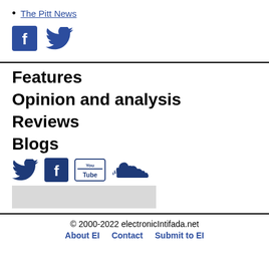The Pitt News
[Figure (illustration): Facebook and Twitter social media icons in blue]
Features
Opinion and analysis
Reviews
Blogs
[Figure (illustration): Twitter, Facebook, YouTube, and SoundCloud social media icons in dark blue]
© 2000-2022 electronicIntifada.net  About EI  Contact  Submit to EI